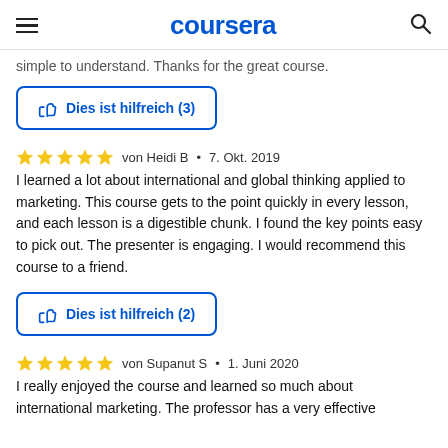coursera
simple to understand. Thanks for the great course.
Dies ist hilfreich (3)
von Heidi B · 7. Okt. 2019
I learned a lot about international and global thinking applied to marketing. This course gets to the point quickly in every lesson, and each lesson is a digestible chunk. I found the key points easy to pick out. The presenter is engaging. I would recommend this course to a friend.
Dies ist hilfreich (2)
von Supanut S · 1. Juni 2020
I really enjoyed the course and learned so much about international marketing. The professor has a very effective